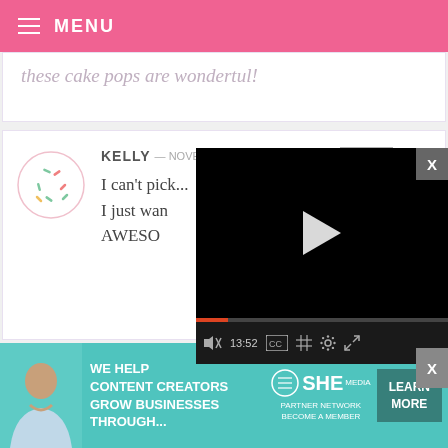MENU
these cake pops are wonderful!
KELLY — NOVEMBER 11, 2011 @ 1:44 PM  REPLY
I can't pick...
I just wanted to say – YOU ARE SO AWESOME
SONYA — 
It's time to make the music, it's time to
[Figure (screenshot): Video player overlay with black screen, play button, progress bar showing 13:52, and controls for mute, CC, grid, settings, and fullscreen]
[Figure (infographic): Banner advertisement: WE HELP CONTENT CREATORS GROW BUSINESSES THROUGH... SHE PARTNER NETWORK BECOME A MEMBER | LEARN MORE button]